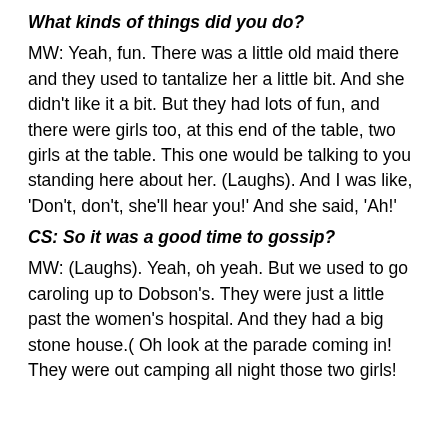What kinds of things did you do?
MW: Yeah, fun. There was a little old maid there and they used to tantalize her a little bit. And she didn't like it a bit. But they had lots of fun, and there were girls too, at this end of the table, two girls at the table. This one would be talking to you standing here about her. (Laughs). And I was like, 'Don't, don't, she'll hear you!' And she said, 'Ah!'
CS: So it was a good time to gossip?
MW: (Laughs). Yeah, oh yeah. But we used to go caroling up to Dobson's. They were just a little past the women's hospital. And they had a big stone house.( Oh look at the parade coming in! They were out camping all night those two girls!